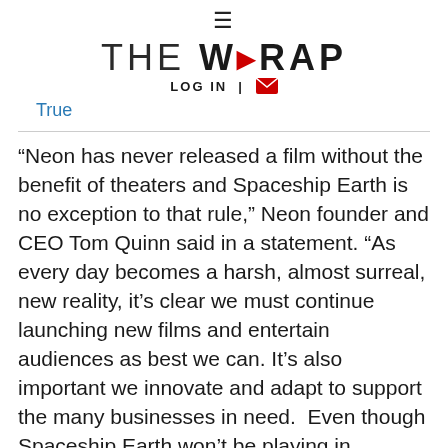THE WRAP | LOG IN
True
“Neon has never released a film without the benefit of theaters and Spaceship Earth is no exception to that rule,” Neon founder and CEO Tom Quinn said in a statement. “As every day becomes a harsh, almost surreal, new reality, it’s clear we must continue launching new films and entertain audiences as best we can. It’s also important we innovate and adapt to support the many businesses in need.  Even though Spaceship Earth won’t be playing in theaters across the country, we hope to make it available…